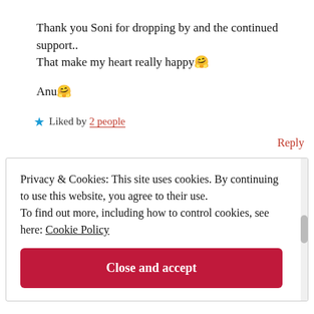Thank you Soni for dropping by and the continued support..
That make my heart really happy 🤗
Anu 🤗
★ Liked by 2 people
Reply
Privacy & Cookies: This site uses cookies. By continuing to use this website, you agree to their use. To find out more, including how to control cookies, see here: Cookie Policy
Close and accept
but being given equal opportunities...